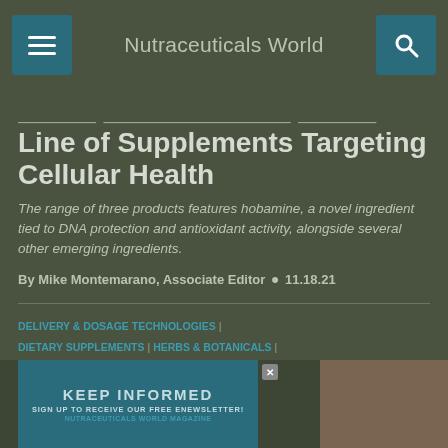Nutraceuticals World
Line of Supplements Targeting Cellular Health
The range of three products features hobamine, a novel ingredient tied to DNA protection and antioxidant activity, alongside several other emerging ingredients.
By Mike Montemarano, Associate Editor • 11.18.21
DELIVERY & DOSAGE TECHNOLOGIES | DIETARY SUPPLEMENTS | HERBS & BOTANICALS | QUALITY & SAFETY | REGULATIONS
[Figure (screenshot): Newsletter subscription banner: KEEP INFORMED - SIGN UP TO RECEIVE OUR FREE ENEWSLETTER! NUTRACEUTICALS WORLD MAGAZINE]